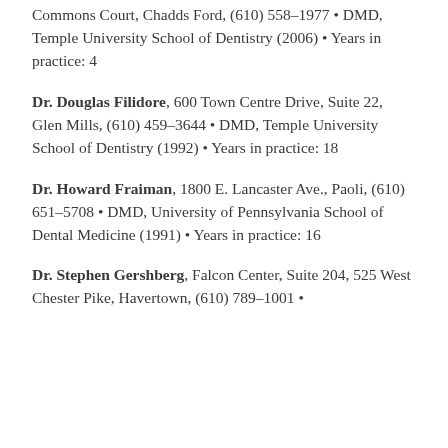Commons Court, Chadds Ford, (610) 558-1977 • DMD, Temple University School of Dentistry (2006) • Years in practice: 4
Dr. Douglas Filidore, 600 Town Centre Drive, Suite 22, Glen Mills, (610) 459-3644 • DMD, Temple University School of Dentistry (1992) • Years in practice: 18
Dr. Howard Fraiman, 1800 E. Lancaster Ave., Paoli, (610) 651-5708 • DMD, University of Pennsylvania School of Dental Medicine (1991) • Years in practice: 16
Dr. Stephen Gershberg, Falcon Center, Suite 204, 525 West Chester Pike, Havertown, (610) 789-1001 •